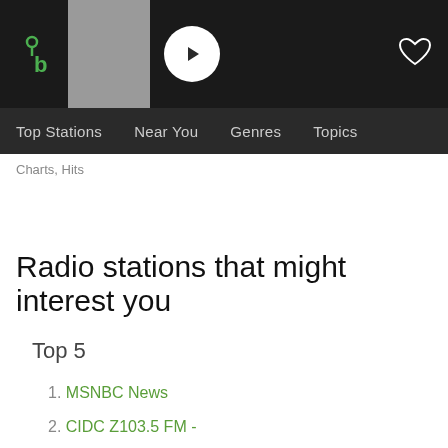TuneIn - Top Stations | Near You | Genres | Topics
Charts, Hits
Radio stations that might interest you
Top 5
1. MSNBC News
2. CIDC Z103.5 FM -
3. KIRO - 710 ESPN Seattle 710 AM
4. 181.fm - Super 70's